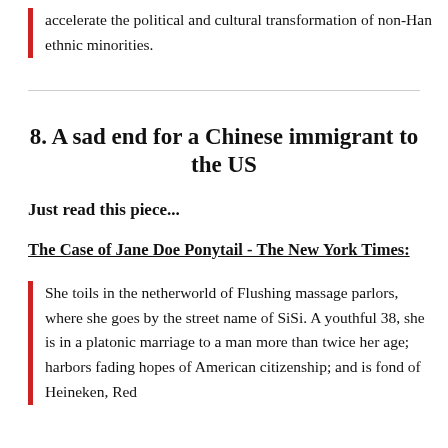accelerate the political and cultural transformation of non-Han ethnic minorities.
8. A sad end for a Chinese immigrant to the US
Just read this piece...
The Case of Jane Doe Ponytail - The New York Times:
She toils in the netherworld of Flushing massage parlors, where she goes by the street name of SiSi. A youthful 38, she is in a platonic marriage to a man more than twice her age; harbors fading hopes of American citizenship; and is fond of Heineken, Red